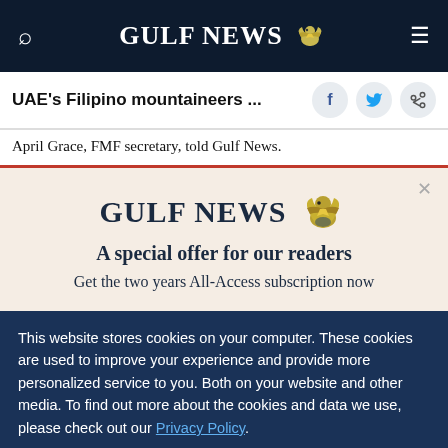GULF NEWS
UAE's Filipino mountaineers ...
April Grace, FMF secretary, told Gulf News.
[Figure (logo): Gulf News advertisement promo box with eagle logo, headline 'A special offer for our readers', and subtext 'Get the two years All-Access subscription now']
This website stores cookies on your computer. These cookies are used to improve your experience and provide more personalized service to you. Both on your website and other media. To find out more about the cookies and data we use, please check out our Privacy Policy.